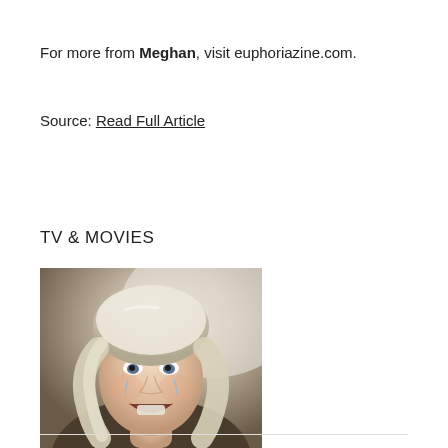For more from Meghan, visit euphoriazine.com.
Source: Read Full Article
TV & MOVIES
[Figure (photo): A blonde woman with curly hair, mouth open, appearing emotional or distressed, in a film still]
Ana de Armas Baffled by ‘Blonde’ NC-17 Rating but Says Film Needed ‘Uncomfortable’ Storytelling